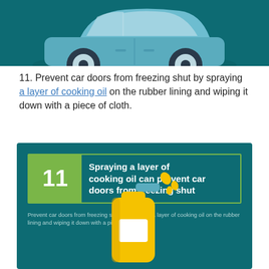[Figure (illustration): Blue cartoon car on a dark teal background, partially visible at the top of the page]
11. Prevent car doors from freezing shut by spraying a layer of cooking oil on the rubber lining and wiping it down with a piece of cloth.
[Figure (infographic): Dark teal infographic panel with green number 11 badge and title 'Spraying a layer of cooking oil can prevent car doors from freezing shut', body text repeating the tip, and a yellow spray bottle illustration at the bottom]